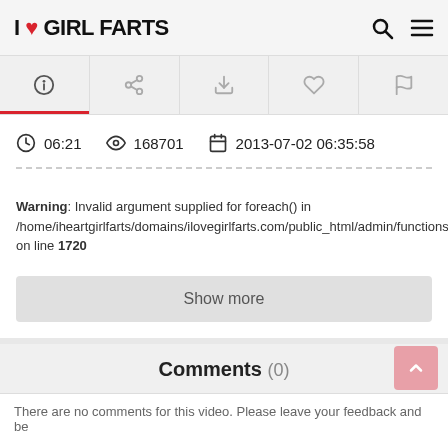I ❤ GIRL FARTS
[Figure (screenshot): Navigation tabs row with icons: info (active with red underline), share, download, heart/like, flag]
⏱ 06:21   👁 168701   📅 2013-07-02 06:35:58
Warning: Invalid argument supplied for foreach() in /home/iheartgirlfarts/domains/ilovegirlfarts.com/public_html/admin/functions on line 1720
Show more
Comments (0)
There are no comments for this video. Please leave your feedback and be